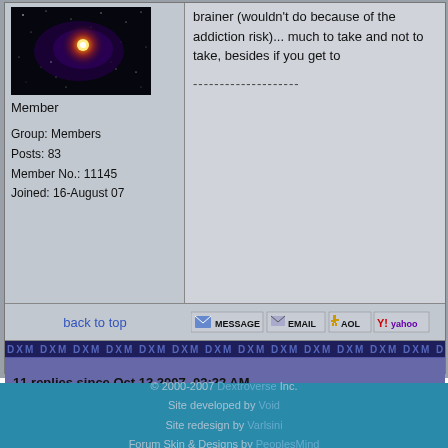[Figure (photo): Forum user avatar showing space/galaxy image with orange star burst]
Member
Group: Members
Posts: 83
Member No.: 11145
Joined: 16-August 07
brainer (wouldn't do because of the addiction risk)... much to take and not to take, besides if you get to
--------------------
back to top
[Figure (screenshot): Forum contact icons: MESSAGE, EMAIL, AOL, Yahoo]
DXM DXM DXM DXM DXM DXM DXM DXM DXM DXM DXM DXM DXM DXM DXM DXM DXM DXM DXM DXM DXM D
11 replies since Oct 13 2007, 03:22 AM
<< Back to DXM-related News
© 2000-2007 Dextroverse Inc.
Site developed by Void
Site redesign by Varlsini
Forum Skin & Designs by PeoplesMind